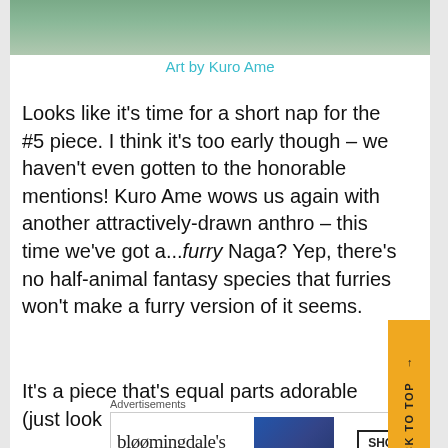[Figure (illustration): Top portion of an illustration showing a fantasy anthro character (furry Naga) with teal/green tones and books in background]
Art by Kuro Ame
Looks like it's time for a short nap for the #5 piece. I think it's too early though – we haven't even gotten to the honorable mentions! Kuro Ame wows us again with another attractively-drawn anthro – this time we've got a...furry Naga? Yep, there's no half-animal fantasy species that furries won't make a furry version of it seems.
It's a piece that's equal parts adorable (just look
Advertisements
[Figure (other): Bloomingdale's advertisement banner: 'View Today's Top Deals!' with SHOP NOW > button and image of woman in hat]